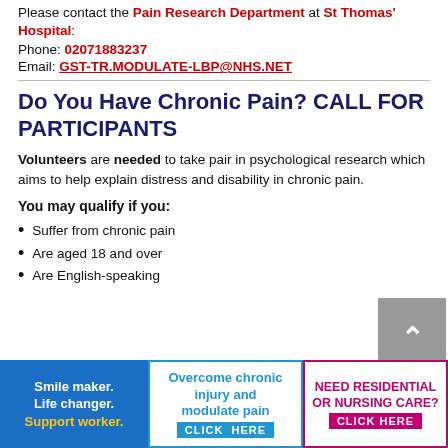Please contact the Pain Research Department at St Thomas' Hospital: Phone: 02071883237 Email: GST-TR.MODULATE-LBP@NHS.NET
Do You Have Chronic Pain? CALL FOR PARTICIPANTS
Volunteers are needed to take pair in psychological research which aims to help explain distress and disability in chronic pain.
You may qualify if you:
Suffer from chronic pain
Are aged 18 and over
Are English-speaking
[Figure (other): Scroll-to-top button with upward chevron arrow on grey background]
[Figure (other): Three advertisement banners at bottom: 1) Blue banner 'Smile maker. Life changer. Support worker.' 2) Blue bordered banner 'Overcome chronic injury and modulate pain CLICK HERE' 3) Pink/magenta bordered banner 'NEED RESIDENTIAL OR NURSING CARE? CLICK HERE']